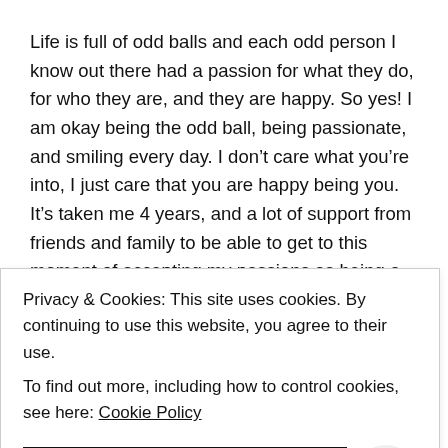Life is full of odd balls and each odd person I know out there had a passion for what they do, for who they are, and they are happy. So yes! I am okay being the odd ball, being passionate, and smiling every day. I don't care what you're into, I just care that you are happy being you. It's taken me 4 years, and a lot of support from friends and family to be able to get to this moment of accepting my passions as being a part of me, and being proud that I love something that can...
Privacy & Cookies: This site uses cookies. By continuing to use this website, you agree to their use.
To find out more, including how to control cookies, see here: Cookie Policy
CLOSE AND ACCEPT